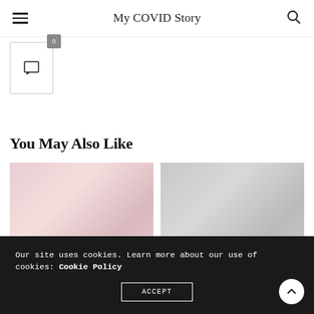My COVID Story
[Figure (other): Comment icon box with badge showing 0]
You May Also Like
[Figure (photo): Two blurred preview images side by side - left is pinkish, right is grayish]
Our site uses cookies. Learn more about our use of cookies: Cookie Policy
ACCEPT